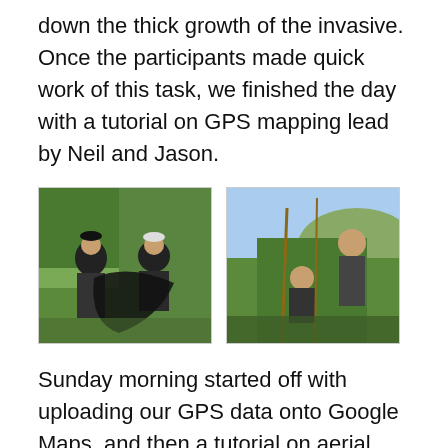down the thick growth of the invasive. Once the participants made quick work of this task, we finished the day with a tutorial on GPS mapping lead by Neil and Jason.
[Figure (photo): Two people working outdoors near a wetland area, one holding a large black tarp while standing in water with vegetation in the background.]
[Figure (photo): Two people working in dense vegetation outdoors, one standing and one crouching, removing invasive plants near a wetland area.]
Sunday morning started off with uploading our GPS data onto Google Maps, and then a tutorial on aerial photo interpretation. Before we went into the field, Jason Jobin of our